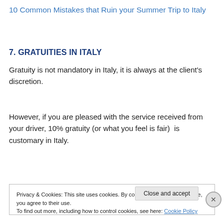10 Common Mistakes that Ruin your Summer Trip to Italy
7. GRATUITIES IN ITALY
Gratuity is not mandatory in Italy, it is always at the client's discretion.
However, if you are pleased with the service received from your driver, 10% gratuity (or what you feel is fair)  is customary in Italy.
Privacy & Cookies: This site uses cookies. By continuing to use this website, you agree to their use.
To find out more, including how to control cookies, see here: Cookie Policy